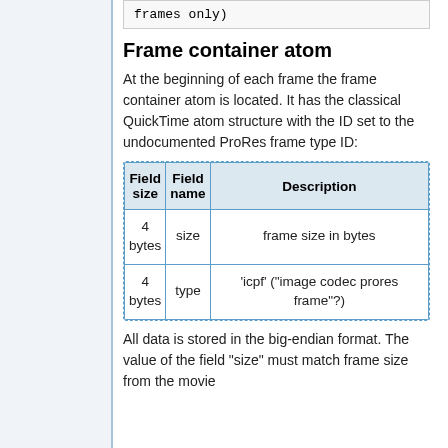frames only)
Frame container atom
At the beginning of each frame the frame container atom is located. It has the classical QuickTime atom structure with the ID set to the undocumented ProRes frame type ID:
| Field size | Field name | Description |
| --- | --- | --- |
| 4 bytes | size | frame size in bytes |
| 4 bytes | type | 'icpf' ("image codec prores frame"?) |
All data is stored in the big-endian format. The value of the field "size" must match frame size from the movie